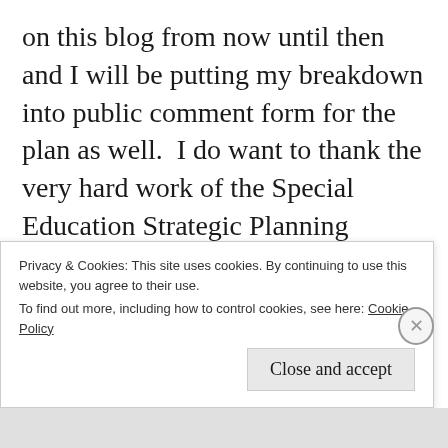on this blog from now until then and I will be putting my breakdown into public comment form for the plan as well.  I do want to thank the very hard work of the Special Education Strategic Planning Group who spent many hours and days, volunteer I may add, to work on this plan.  The group consisted of 24 Delawareans, a moderator, and various [partially visible text]
Privacy & Cookies: This site uses cookies. By continuing to use this website, you agree to their use.
To find out more, including how to control cookies, see here: Cookie Policy